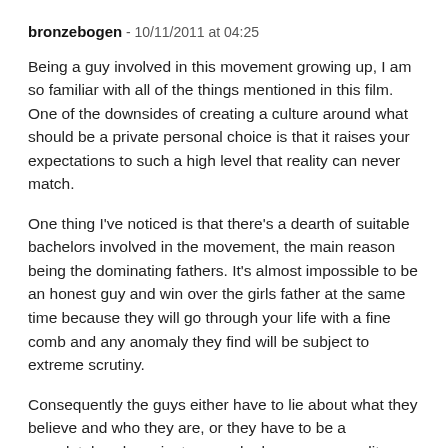bronzebogen - 10/11/2011 at 04:25
Being a guy involved in this movement growing up, I am so familiar with all of the things mentioned in this film. One of the downsides of creating a culture around what should be a private personal choice is that it raises your expectations to such a high level that reality can never match.
One thing I've noticed is that there's a dearth of suitable bachelors involved in the movement, the main reason being the dominating fathers. It's almost impossible to be an honest guy and win over the girls father at the same time because they will go through your life with a fine comb and any anomaly they find will be subject to extreme scrutiny.
Consequently the guys either have to lie about what they believe and who they are, or they have to be a completely subservient peon who has no personality or will in order